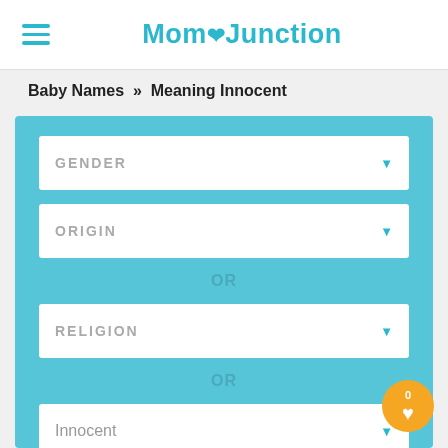MomJunction
Baby Names » Meaning Innocent
[Figure (screenshot): Filter UI with dropdown selectors for GENDER, ORIGIN, RELIGION, and a text field showing 'Innocent', connected by OR separators, on a teal/cyan background.]